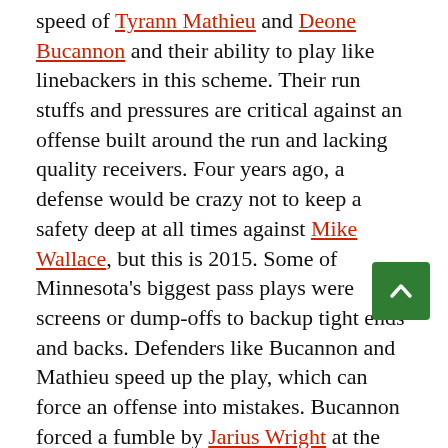speed of Tyrann Mathieu and Deone Bucannon and their ability to play like linebackers in this scheme. Their run stuffs and pressures are critical against an offense built around the run and lacking quality receivers. Four years ago, a defense would be crazy not to keep a safety deep at all times against Mike Wallace, but this is 2015. Some of Minnesota's biggest pass plays were screens or dump-offs to backup tight ends and backs. Defenders like Bucannon and Mathieu speed up the play, which can force an offense into mistakes. Bucannon forced a fumble by Jarius Wright at the Arizona 15 when it looked like the Vikings were going to regain the lead in the second quarter.

The defensive backs definitely helped in making Peterson have an ineffective finish, but it was an unorthodox play that Minnesota would most like to have back. The offense was moving to start the third quarter with the game tied at 10, but at the